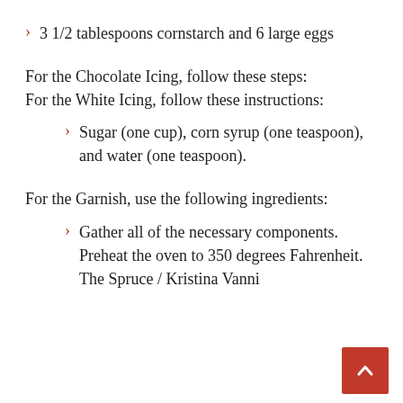3 1/2 tablespoons cornstarch and 6 large eggs
For the Chocolate Icing, follow these steps:
For the White Icing, follow these instructions:
Sugar (one cup), corn syrup (one teaspoon), and water (one teaspoon).
For the Garnish, use the following ingredients:
Gather all of the necessary components. Preheat the oven to 350 degrees Fahrenheit. The Spruce / Kristina Vanni